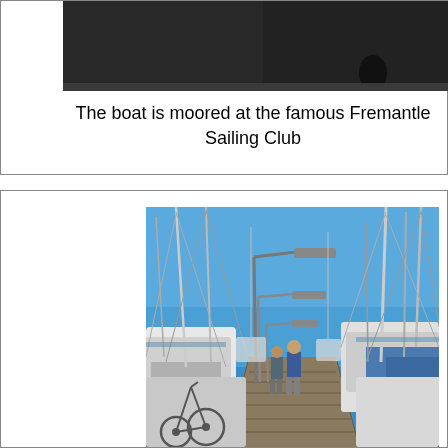[Figure (photo): Close-up photo of a boat, dark/black background showing part of the boat's hull or interior, partially cropped at top]
The boat is moored at the famous Fremantle Sailing Club
[Figure (photo): Photo of a marina dock at the Fremantle Sailing Club with sailboats moored on both sides, masts rising against a clear blue sky, a person walking along the dock, street lamps along the dock, and bicycles visible in the foreground]